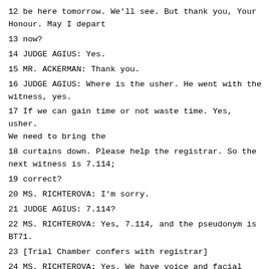12 be here tomorrow. We'll see. But thank you, Your Honour. May I depart
13 now?
14 JUDGE AGIUS: Yes.
15 MR. ACKERMAN: Thank you.
16 JUDGE AGIUS: Where is the usher. He went with the witness, yes.
17 If we can gain time or not waste time. Yes, usher. We need to bring the
18 curtains down. Please help the registrar. So the next witness is 7.114;
19 correct?
20 MS. RICHTEROVA: I'm sorry.
21 JUDGE AGIUS: 7.114?
22 MS. RICHTEROVA: Yes, 7.114, and the pseudonym is BT71.
23 [Trial Chamber confers with registrar]
24 MS. RICHTEROVA: Yes. We have voice and facial distortion for